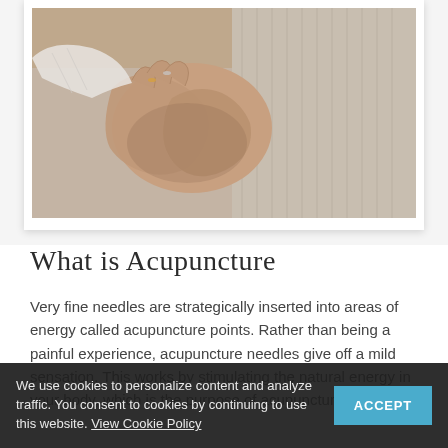[Figure (photo): Close-up photograph of hands performing acupuncture or massage therapy, with rings visible on the practitioner's fingers, set against a knitted/textured fabric background]
What is Acupuncture
Very fine needles are strategically inserted into areas of energy called acupuncture points. Rather than being a painful experience, acupuncture needles give off a mild sensation. This works by stimulating the natural energy in your body, which is the purpose of acupuncture. It is
We use cookies to personalize content and analyze traffic. You consent to cookies by continuing to use this website. View Cookie Policy